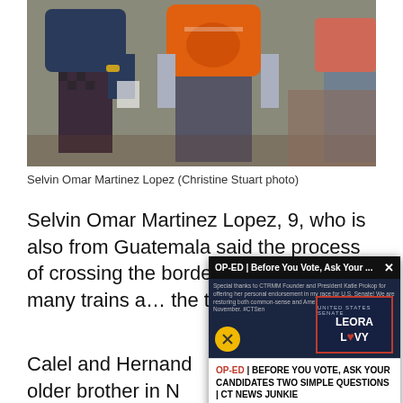[Figure (photo): Photo of Selvin Omar Martinez Lopez, a boy in an orange hoodie, standing next to an adult. Christine Stuart photo.]
Selvin Omar Martinez Lopez (Christine Stuart photo)
Selvin Omar Martinez Lopez, 9, who is also from Guatemala said the process of crossing the border was a... take many trains a... the train and get d...
Calel and Hernand... older brother in N...
[Figure (screenshot): Popup advertisement overlay: OP-ED | Before You Vote, Ask Your ... with a video thumbnail showing Leora Levy logo and text about CTRMM endorsement. Footer text: OP-ED | BEFORE YOU VOTE, ASK YOUR CANDIDATES TWO SIMPLE QUESTIONS | CT NEWS JUNKIE]